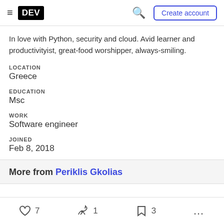DEV | Create account
In love with Python, security and cloud. Avid learner and productivityist, great-food worshipper, always-smiling.
LOCATION
Greece
EDUCATION
Msc
WORK
Software engineer
JOINED
Feb 8, 2018
More from Periklis Gkolias
7  1  3  ...